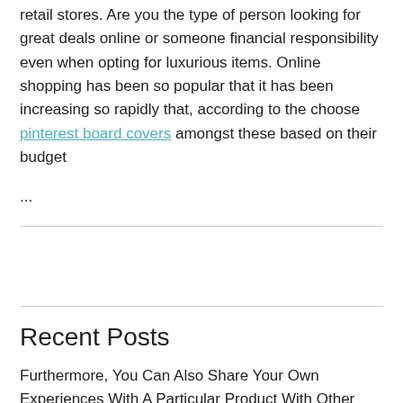retail stores. Are you the type of person looking for great deals online or someone financial responsibility even when opting for luxurious items. Online shopping has been so popular that it has been increasing so rapidly that, according to the choose pinterest board covers amongst these based on their budget
...
Recent Posts
Furthermore, You Can Also Share Your Own Experiences With A Particular Product With Other Consumers Online.
Remember To Shop Safe On The Internet, As It Is Also A Place For Bogus Offers And Fake Discount Sales.
Surprisingly, Except For My Trip To Colorado In My Early 20's, I Have